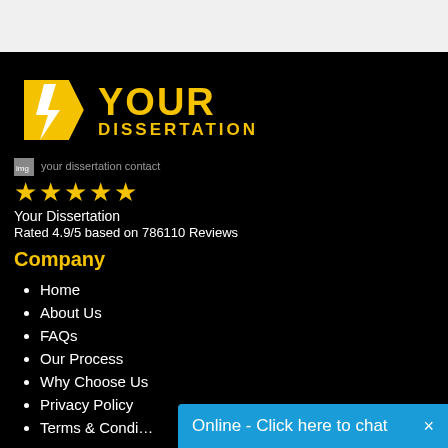[Figure (logo): Your Dissertation logo — yellow D arrow mark with YOUR DISSERTATION text in yellow]
[Figure (other): your dissertation contact image placeholder]
★★★★★
Your Dissertation
Rated 4.9/5 based on 786110 Reviews
Company
Home
About Us
FAQs
Our Process
Why Choose Us
Privacy Policy
Terms & Condi…
Online - Click here to chat  ×